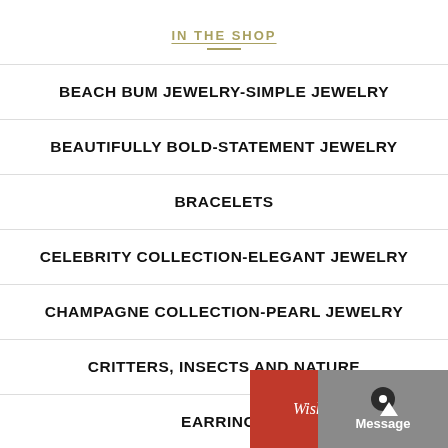IN THE SHOP
BEACH BUM JEWELRY-SIMPLE JEWELRY
BEAUTIFULLY BOLD-STATEMENT JEWELRY
BRACELETS
CELEBRITY COLLECTION-ELEGANT JEWELRY
CHAMPAGNE COLLECTION-PEARL JEWELRY
CRITTERS, INSECTS AND NATURE
EARRINGS